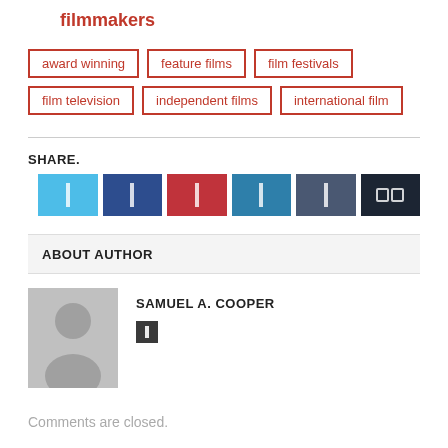filmmakers
award winning
feature films
film festivals
film television
independent films
international film
SHARE.
[Figure (other): Social share buttons: Twitter (light blue), Facebook (dark blue), Pinterest (red), LinkedIn (medium blue), Tumblr (dark grey-blue), More (dark navy)]
ABOUT AUTHOR
[Figure (photo): Default user avatar silhouette on grey background]
SAMUEL A. COOPER
Comments are closed.